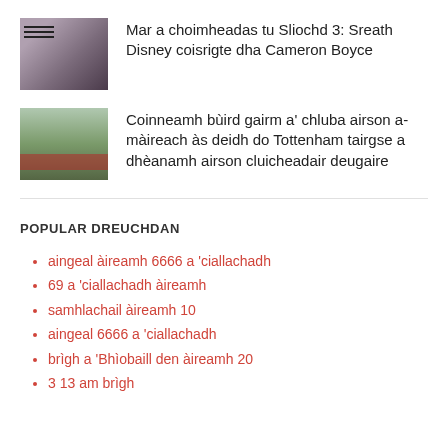Mar a choimheadas tu Sliochd 3: Sreath Disney coisrigte dha Cameron Boyce
Coinneamh bùird gairm a' chluba airson a-màireach às deidh do Tottenham tairgse a dhèanamh airson cluicheadair deugaire
POPULAR DREUCHDAN
aingeal àireamh 6666 a 'ciallachadh
69 a 'ciallachadh àireamh
samhlachail àireamh 10
aingeal 6666 a 'ciallachadh
brìgh a 'Bhìobaill den àireamh 20
3 13 am brìgh